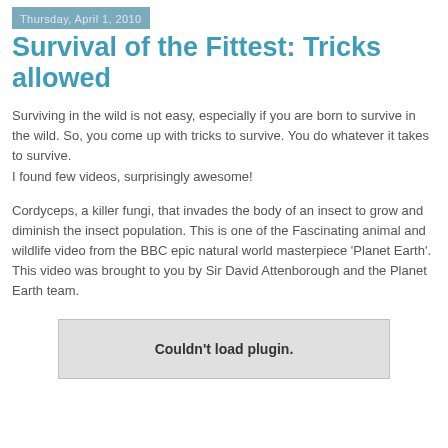Thursday, April 1, 2010
Survival of the Fittest: Tricks allowed
Surviving in the wild is not easy, especially if you are born to survive in the wild. So, you come up with tricks to survive. You do whatever it takes to survive.
I found few videos, surprisingly awesome!
Cordyceps, a killer fungi, that invades the body of an insect to grow and diminish the insect population. This is one of the Fascinating animal and wildlife video from the BBC epic natural world masterpiece 'Planet Earth'. This video was brought to you by Sir David Attenborough and the Planet Earth team.
[Figure (other): Embedded video plugin placeholder showing 'Couldn't load plugin.']